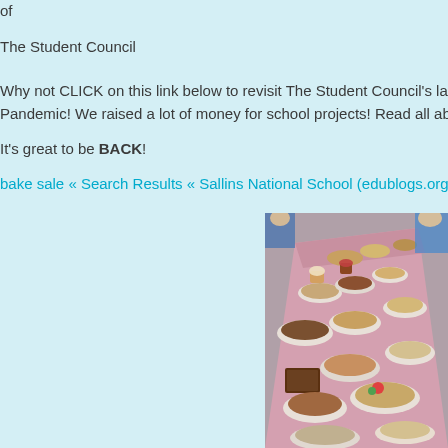of
The Student Council
Why not CLICK on this link below to revisit The Student Council's last BA... Pandemic! We raised a lot of money for school projects! Read all about i...
It's great to be BACK!
bake sale « Search Results « Sallins National School (edublogs.org...
[Figure (photo): A long table covered with a pink tablecloth filled with plates of baked goods including cakes, muffins, and other treats, with people standing behind it.]